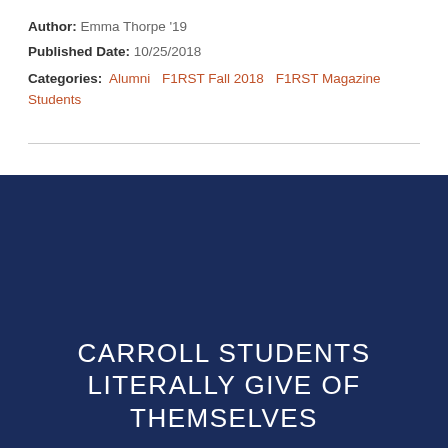Author: Emma Thorpe '19
Published Date: 10/25/2018
Categories: Alumni  F1RST Fall 2018  F1RST Magazine  Students
[Figure (photo): Dark navy blue background image area]
CARROLL STUDENTS LITERALLY GIVE OF THEMSELVES